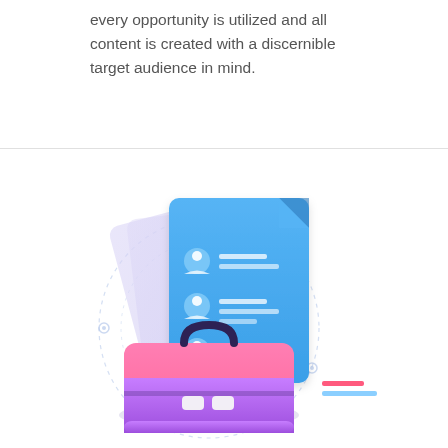every opportunity is utilized and all content is created with a discernible target audience in mind.
[Figure (illustration): Flat illustration of a pink-to-purple gradient briefcase with a blue document/list floating above it showing three person icons with lines, set against decorative circular dashed rings, with a lavender shadow beneath and small red/blue accent lines to the right.]